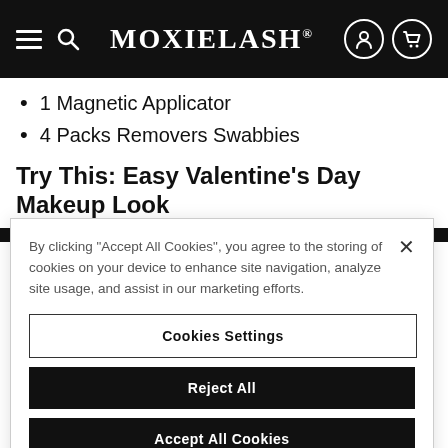MOXIELASH
1 Magnetic Applicator
4 Packs Removers Swabbies
Try This: Easy Valentine's Day Makeup Look
By clicking "Accept All Cookies", you agree to the storing of cookies on your device to enhance site navigation, analyze site usage, and assist in our marketing efforts.
Cookies Settings
Reject All
Accept All Cookies